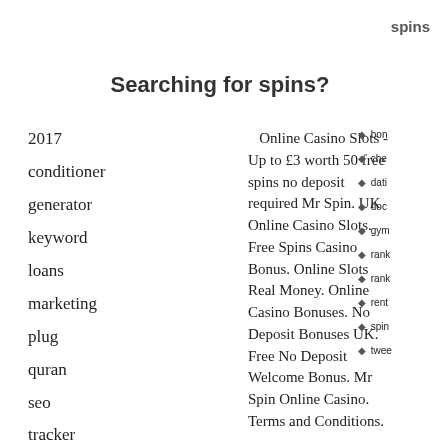spins
Searching for spins?
2017
conditioner
generator
keyword
loans
marketing
plug
quran
seo
tracker
vpn
Online Casino Slots - Up to £3 worth 50 free spins no deposit required Mr Spin. UK Online Casino Slots. Free Spins Casino Bonus. Online Slots Real Money. Online Casino Bonuses. No Deposit Bonuses UK. Free No Deposit Welcome Bonus. Mr Spin Online Casino. Terms and Conditions.
bon
che
dati
doc
gym
rank
rank
rent
spin
twee